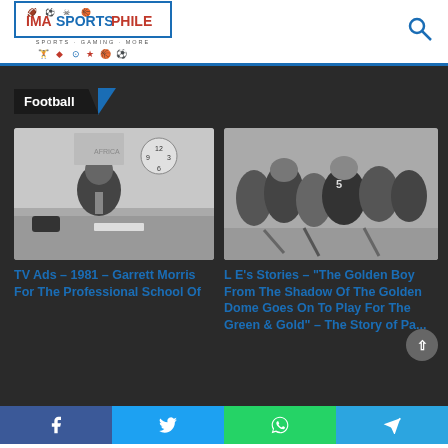IMASPORTSPHILE
Football
[Figure (photo): Black and white photo of a man in a suit sitting at a desk with a telephone and clock on the wall behind him]
TV Ads – 1981 – Garrett Morris For The Professional School Of
[Figure (photo): Black and white photo of football players in action during a game]
L E's Stories – "The Golden Boy From The Shadow Of The Golden Dome Goes On To Play For The Green & Gold" – The Story of Pa...